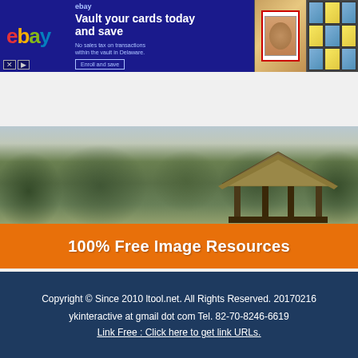[Figure (screenshot): eBay advertisement banner: 'Vault your cards today and save' with card images on right]
[Figure (screenshot): Collapsed image strip showing a hand/finger photo with chevron button and pin icon]
[Figure (photo): Japanese garden with thatched roof pavilion and trees, orange banner overlay reading '100% Free Image Resources']
Copyright © Since 2010 ltool.net. All Rights Reserved. 20170216 ykinteractive at gmail dot com Tel. 82-70-8246-6619 Link Free : Click here to get link URLs.